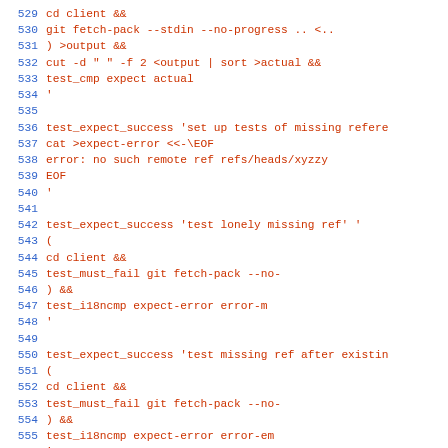Source code listing, lines 529-558, shell script test code
529     cd client &&
530     git fetch-pack --stdin --no-progress .. <..
531     ) >output &&
532     cut -d " " -f 2 <output | sort >actual &&
533     test_cmp expect actual
534 '
535
536 test_expect_success 'set up tests of missing refere
537     cat >expect-error <<-\EOF
538     error: no such remote ref refs/heads/xyzzy
539     EOF
540 '
541
542 test_expect_success 'test lonely missing ref' '
543         (
544                 cd client &&
545                 test_must_fail git fetch-pack --no-
546         ) &&
547         test_i18ncmp expect-error error-m
548 '
549
550 test_expect_success 'test missing ref after existin
551         (
552                 cd client &&
553                 test_must_fail git fetch-pack --no-
554         ) &&
555         test_i18ncmp expect-error error-em
556 '
557
558 test_expect_success 'test missing ref before existi